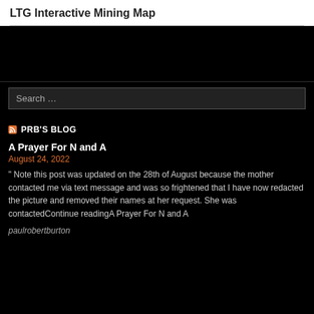LTG Interactive Mining Map
[Figure (screenshot): Black banner/map area with horizontal divider line]
Search …
PRB'S BLOG
A Prayer For N and A
August 24, 2022
" Note this post was updated on the 28th of August because the mother contacted me via text message and was so frightened that I have now redacted the picture and removed their names at her request. She was contactedContinue readingA Prayer For N and A
paulrobertburton